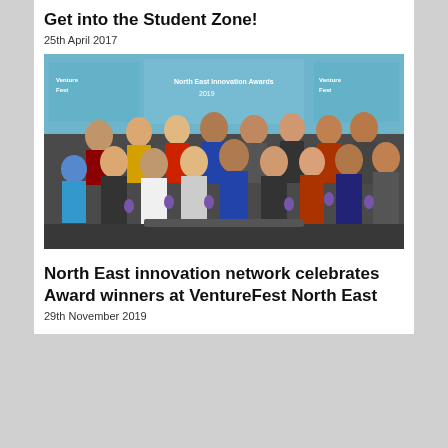Get into the Student Zone!
25th April 2017
[Figure (photo): Group photo of North East Innovation Awards 2019 winners holding purple trophies, standing in front of branded VentureFest North East and North East Innovation Awards banners.]
North East innovation network celebrates Award winners at VentureFest North East
29th November 2019